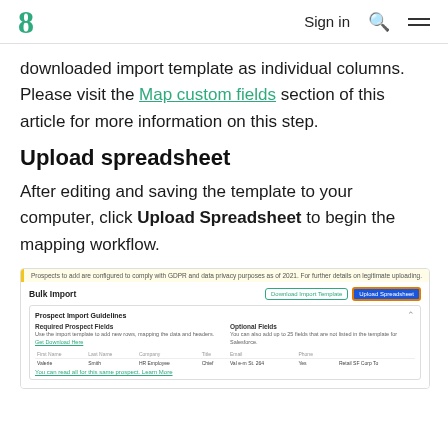Sign in
downloaded import template as individual columns. Please visit the Map custom fields section of this article for more information on this step.
Upload spreadsheet
After editing and saving the template to your computer, click Upload Spreadsheet to begin the mapping workflow.
[Figure (screenshot): Screenshot of the Bulk Import page showing a yellow information banner, Bulk Import title, Download Import Template and Upload Spreadsheet buttons (Upload Spreadsheet highlighted with orange border), Prospect Import Guidelines accordion section with two columns (Required Prospect Fields and Optional Fields) and a sample data table with columns for first name, last name, company, title, email, phone, and other fields, with a Learn More link at the bottom.]